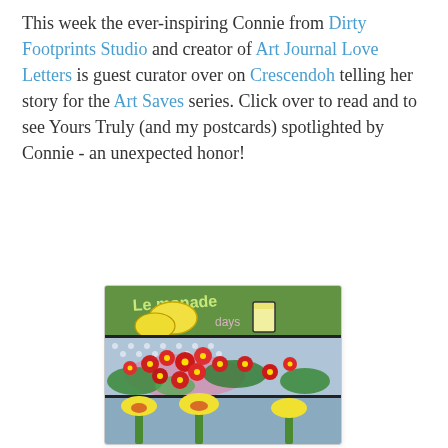This week the ever-inspiring Connie from Dirty Footprints Studio and creator of Art Journal Love Letters is guest curator over on Crescendoh telling her story for the Art Saves series. Click over to read and to see Yours Truly (and my postcards) spotlighted by Connie - an unexpected honor!
[Figure (illustration): A colorful folk-art style painting arranged in three horizontal panels: top panel shows 'Lemonade days' text on green background with lemons; middle panel shows bright red flowers and green leaves on dotted blue-grey background; bottom panel shows yellow tulips on blue-grey background.]